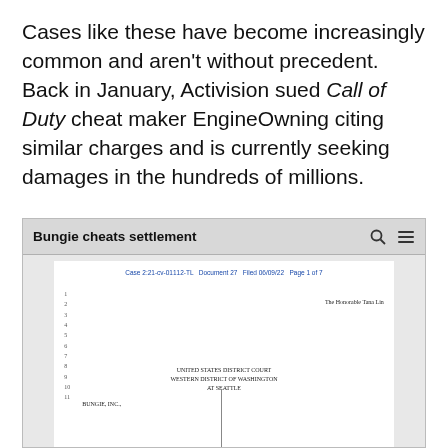Cases like these have become increasingly common and aren't without precedent. Back in January, Activision sued Call of Duty cheat maker EngineOwning citing similar charges and is currently seeking damages in the hundreds of millions.
[Figure (screenshot): Screenshot of a browser showing a legal document for 'Bungie cheats settlement'. The document is Case 2:21-cv-01112-TL, Document 27, Filed 06/09/22, Page 1 of 7. It shows a US District Court filing for the Western District of Washington at Seattle, with line numbers on the left, 'The Honorable Tana Lin' on the right, and 'BUNGIE, INC.,' as plaintiff.]